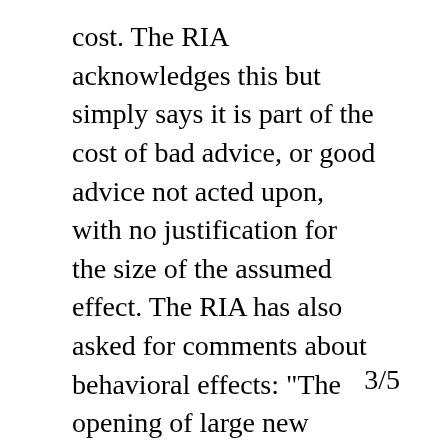cost. The RIA acknowledges this but simply says it is part of the cost of bad advice, or good advice not acted upon, with no justification for the size of the assumed effect. The RIA has also asked for comments about behavioral effects: "The opening of large new markets to a variety of investment advice arrangements to which they were heretofore closed may affect the evolution of investment advice products and services and related technologies and their distribution channels and respective market shares. Other possible indirect effects that the Department lacks
3/5